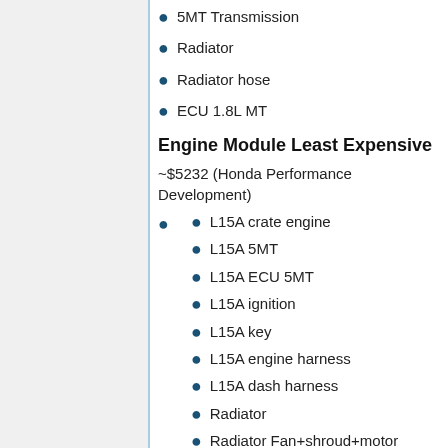5MT Transmission
Radiator
Radiator hose
ECU 1.8L MT
Engine Module Least Expensive
~$5232 (Honda Performance Development)
L15A crate engine
L15A 5MT
L15A ECU 5MT
L15A ignition
L15A key
L15A engine harness
L15A dash harness
Radiator
Radiator Fan+shroud+motor
Radiator hose